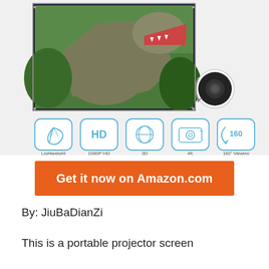[Figure (photo): Product image of a portable projector screen showing a T-Rex dinosaur image on screen, with a projector device icon inset, and five feature icons below: Lightweight, 1080P HD, 3D, 4K, 160° Viewing Angle]
Get it now on Amazon.com
By: JiuBaDianZi
This is a portable projector screen